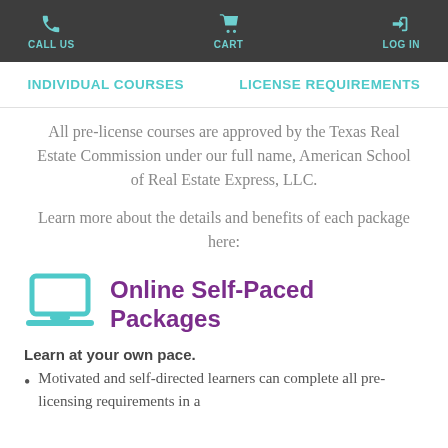CALL US   CART   LOG IN
INDIVIDUAL COURSES   LICENSE REQUIREMENTS
All pre-license courses are approved by the Texas Real Estate Commission under our full name, American School of Real Estate Express, LLC.
Learn more about the details and benefits of each package here:
Online Self-Paced Packages
Learn at your own pace.
Motivated and self-directed learners can complete all pre-licensing requirements in a